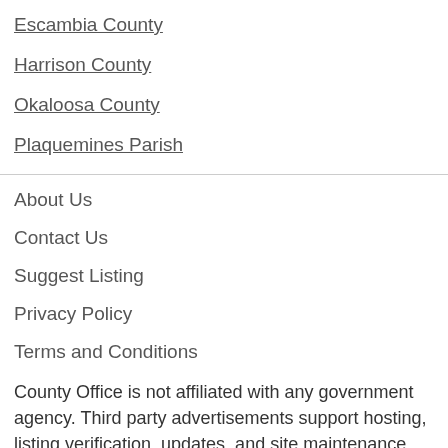Escambia County
Harrison County
Okaloosa County
Plaquemines Parish
About Us
Contact Us
Suggest Listing
Privacy Policy
Terms and Conditions
County Office is not affiliated with any government agency. Third party advertisements support hosting, listing verification, updates, and site maintenance. Information found on CountyOffice.org is strictly for informational purposes and does not construe legal, financial or